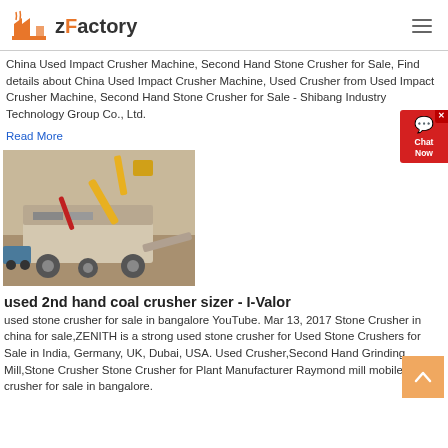zFactory
China Used Impact Crusher Machine, Second Hand Stone Crusher for Sale, Find details about China Used Impact Crusher Machine, Used Crusher from Used Impact Crusher Machine, Second Hand Stone Crusher for Sale - Shibang Industry Technology Group Co., Ltd.
Read More
[Figure (photo): Aerial view of a mobile stone crusher machine at a construction/mining site, with an excavator and truck visible.]
used 2nd hand coal crusher sizer - I-Valor
used stone crusher for sale in bangalore YouTube. Mar 13, 2017 Stone Crusher in china for sale,ZENITH is a strong used stone crusher for Used Stone Crushers for Sale in India, Germany, UK, Dubai, USA. Used Crusher,Second Hand Grinding Mill,Stone Crusher Stone Crusher for Plant Manufacturer Raymond mill mobile stone crusher for sale in bangalore.